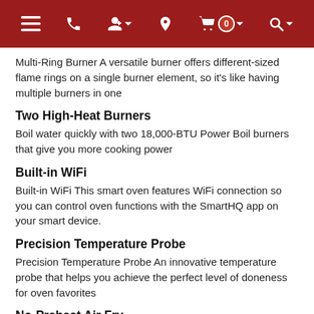Navigation bar with menu, phone, account, location, cart (0), and search icons
Multi-Ring Burner A versatile burner offers different-sized flame rings on a single burner element, so it's like having multiple burners in one
Two High-Heat Burners
Boil water quickly with two 18,000-BTU Power Boil burners that give you more cooking power
Built-in WiFi
Built-in WiFi This smart oven features WiFi connection so you can control oven functions with the SmartHQ app on your smart device.
Precision Temperature Probe
Precision Temperature Probe An innovative temperature probe that helps you achieve the perfect level of doneness for oven favorites
No-Preheat Air Fry
No-Preheat Air Fry Cook healthier, crispier versions of your favorite foods in less time, thanks to an air fryer right in your oven that doesn't require preheating, a basket or